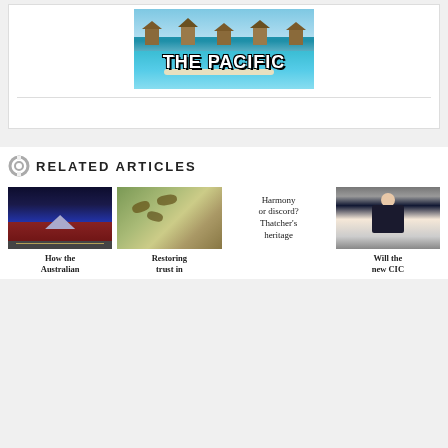[Figure (photo): Tropical Pacific scene with overwater bungalows, turquoise water, and 'THE PACIFIC' text overlay in bold white lettering]
RELATED ARTICLES
[Figure (photo): Australian Parliament House at night with lights]
How the Australian
[Figure (photo): Close-up of bees]
Restoring trust in
Harmony or discord? Thatcher's heritage
[Figure (photo): Woman in dark jacket speaking, holding papers]
Will the new CIC